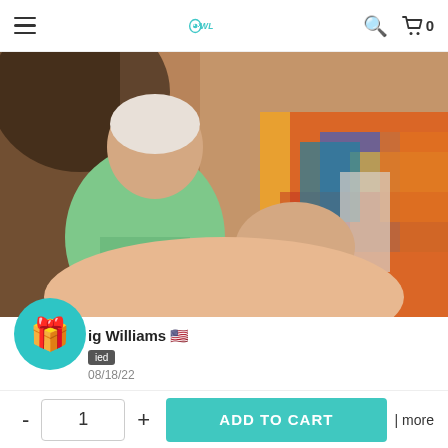Owlsmatrix — navigation bar with hamburger menu, logo, search and cart icons
[Figure (photo): Product review photo showing two people sitting on a couch, one wearing a green lucky t-shirt, the other wearing a colorful patterned shirt]
Craig Williams 🇺🇸
Verified
08/18/22
★★★★★
My new drum shirt
- 1 + ADD TO CART | more